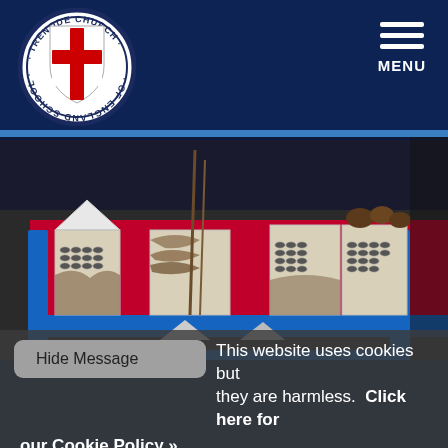Trenode Church of England School
[Figure (logo): Trenode Church of England School circular logo with red cross on white shield, text around the border]
[Figure (photo): Indoor photo showing wooden bug hotel boxes filled with natural materials like pine cones, straw, and bamboo tubes arranged on a blue metal shelf, with a red background wall]
Hide Message   This website uses cookies but they are harmless.  Click here for our Cookie Policy »